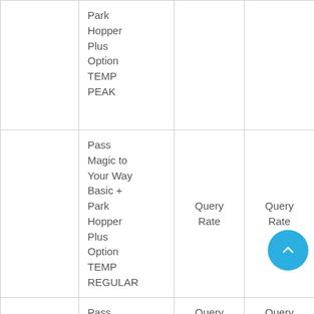|  | Park Hopper Plus Option TEMP PEAK |  |  |
|  | Pass Magic to Your Way Basic + Park Hopper Plus Option TEMP REGULAR | Query Rate | Query Rate |
|  | Pass Magic to... | Query Rate | Query Rate |